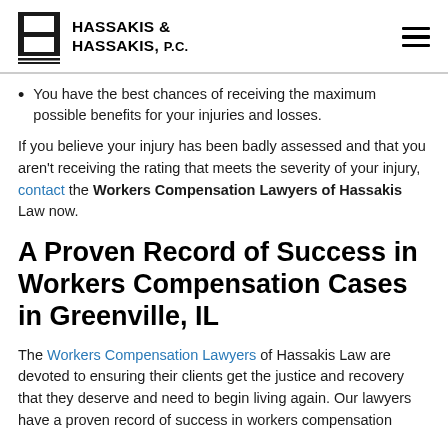HASSAKIS & HASSAKIS, P.C.
You have the best chances of receiving the maximum possible benefits for your injuries and losses.
If you believe your injury has been badly assessed and that you aren't receiving the rating that meets the severity of your injury, contact the Workers Compensation Lawyers of Hassakis Law now.
A Proven Record of Success in Workers Compensation Cases in Greenville, IL
The Workers Compensation Lawyers of Hassakis Law are devoted to ensuring their clients get the justice and recovery that they deserve and need to begin living again. Our lawyers have a proven record of success in workers compensation